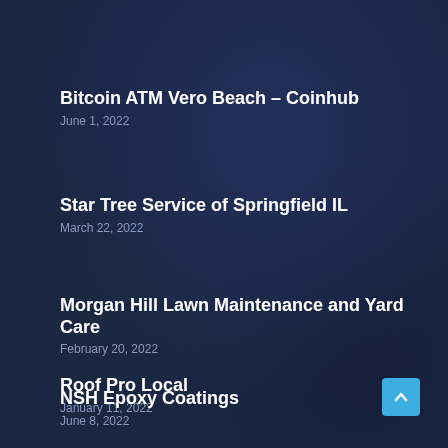Bitcoin ATM Vero Beach – Coinhub
June 1, 2022
Star Tree Service of Springfield IL
March 22, 2022
Morgan Hill Lawn Maintenance and Yard Care
February 20, 2022
Roof Pro Local
January 11, 2022
NSH Epoxy Coatings
June 8, 2022